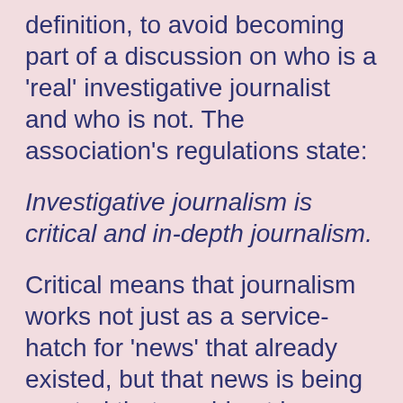definition, to avoid becoming part of a discussion on who is a 'real' investigative journalist and who is not. The association's regulations state:
Investigative journalism is critical and in-depth journalism.
Critical means that journalism works not just as a service-hatch for 'news' that already existed, but that news is being created that would not have existed without this journalistic intervention. This may happen by the creation of new facts, but also by interpreting or connecting already known facts in a new way. In-depth